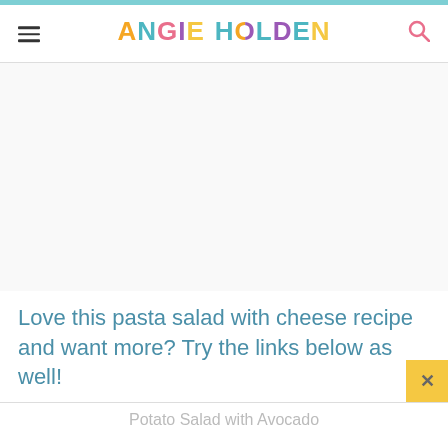ANGIE HOLDEN
[Figure (other): Advertisement or image placeholder area (blank white space)]
Love this pasta salad with cheese recipe and want more? Try the links below as well!
Potato Salad with Avocado